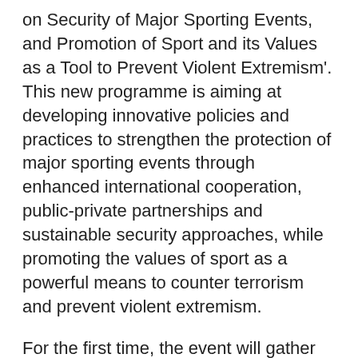on Security of Major Sporting Events, and Promotion of Sport and its Values as a Tool to Prevent Violent Extremism'. This new programme is aiming at developing innovative policies and practices to strengthen the protection of major sporting events through enhanced international cooperation, public-private partnerships and sustainable security approaches, while promoting the values of sport as a powerful means to counter terrorism and prevent violent extremism.
For the first time, the event will gather experts from Member States, international and regional organizations as well as sport federations and the private sector.
The programme is supported by the State of Qatar, the United Nations Peace and Development Fund/UNPDF, funded by the